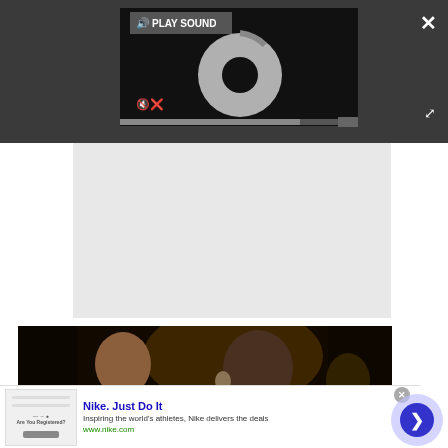[Figure (screenshot): Video player interface with dark background. Shows a 'PLAY SOUND' button with speaker icon at top, a circular loading spinner in the center, a mute/unmute icon at bottom left of the player, a progress bar at bottom, a close X button top right, and expand arrows bottom right of the dark bar.]
[Figure (photo): Still from a movie scene showing two figures in dark, dramatic lighting — a man and what appears to be an ape/creature character.]
[Figure (screenshot): Advertisement banner for Nike. Shows thumbnail image on left with 'Are You Registered?' text, Nike ad text 'Nike. Just Do It' in blue bold, description 'Inspiring the world's athletes, Nike delivers the deals', URL 'www.nike.com' in green, and a circular blue arrow button on the right. Has an X close button and ad info icon.]